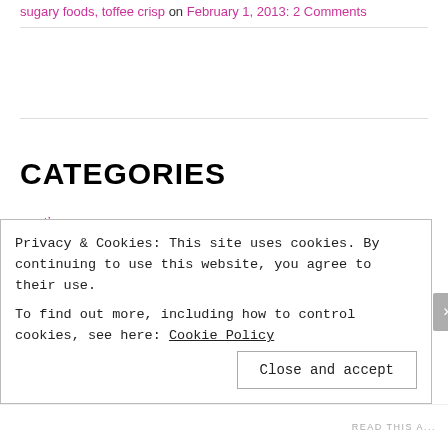sugary foods, toffee crisp on February 1, 2013: 2 Comments
CATEGORIES
erotica
food cons
Privacy & Cookies: This site uses cookies. By continuing to use this website, you agree to their use.
To find out more, including how to control cookies, see here: Cookie Policy
Close and accept
READ THIS A...